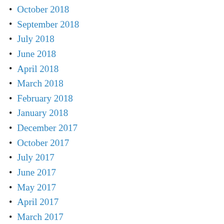October 2018
September 2018
July 2018
June 2018
April 2018
March 2018
February 2018
January 2018
December 2017
October 2017
July 2017
June 2017
May 2017
April 2017
March 2017
February 2017